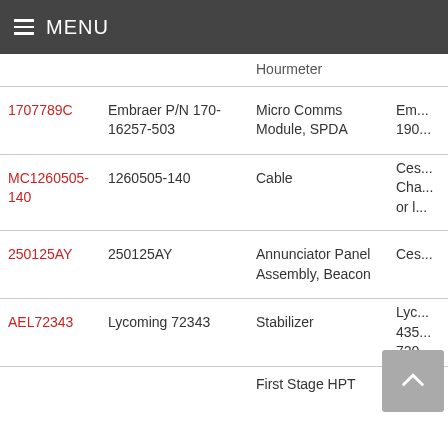MENU
| Part ID | Part Number | Description | Manufacturer |
| --- | --- | --- | --- |
|  |  | Hourmeter |  |
| 1707789C | Embraer P/N 170-16257-503 | Micro Comms Module, SPDA | Em... 190... |
| MC1260505-140 | 1260505-140 | Cable | Ces... Cha... or l... |
| 250125AY | 250125AY | Annunciator Panel Assembly, Beacon | Ces... |
| AEL72343 | Lycoming 72343 | Stabilizer | Lyc... 435... 720... |
|  |  | First Stage HPT |  |